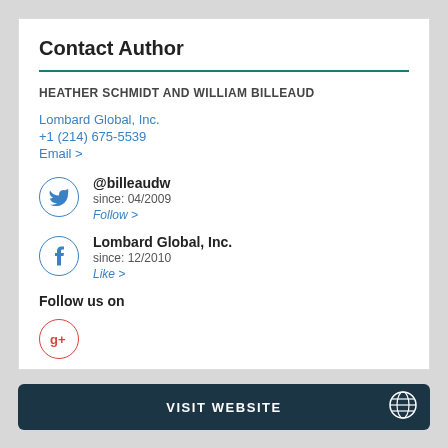Contact Author
HEATHER SCHMIDT AND WILLIAM BILLEAUD
Lombard Global, Inc.
+1 (214) 675-5539
Email >
@billeaudw
since: 04/2009
Follow >
Lombard Global, Inc.
since: 12/2010
Like >
Follow us on
VISIT WEBSITE